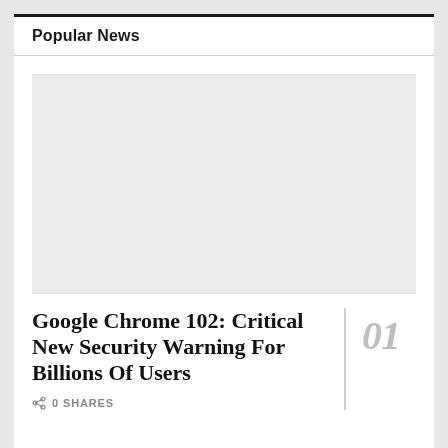Popular News
[Figure (photo): Large grey placeholder image for article thumbnail]
Google Chrome 102: Critical New Security Warning For Billions Of Users
0 SHARES